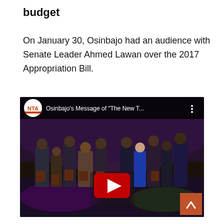budget
On January 30, Osinbajo had an audience with Senate Leader Ahmed Lawan over the 2017 Appropriation Bill.
[Figure (screenshot): YouTube video thumbnail showing Osinbajo's Message of 'The New T...' with NTA logo, group of people on stage holding plaques, and a red play button overlay.]